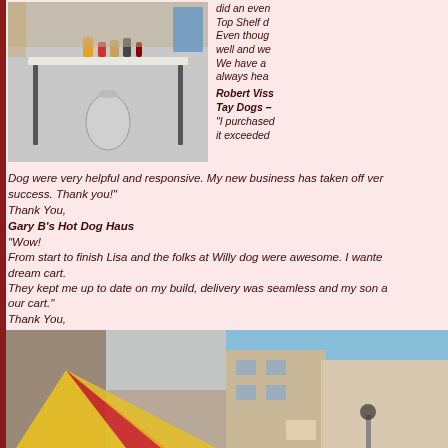[Figure (photo): Hot dog cart setup with a folding table outdoors, with condiments and supplies on top and a propane tank underneath]
did an even Top Shelf d Even thoug well and we We have a always hea
Robert Viss Tay Dogs – "I purchased it exceeded
Dog were very helpful and responsive. My new business has taken off ver success. Thank you!"
Thank You,
Gary B's Hot Dog Haus
"Wow!
From start to finish Lisa and the folks at Willy dog were awesome. I wante dream cart.
They kept me up to date on my build, delivery was seamless and my son a our cart."
Thank You,
Eli
"Super people to deal with. All very professional. I do believe they had our our cart from them, and are doing well!. (McWeenies Gourmet Hot Dogs)"
Warmest Regards,
Dwight
[Figure (photo): Left: colorful umbrella at a hot dog cart near a building. Right: Street view with hot dog cart near storefronts under blue sky.]